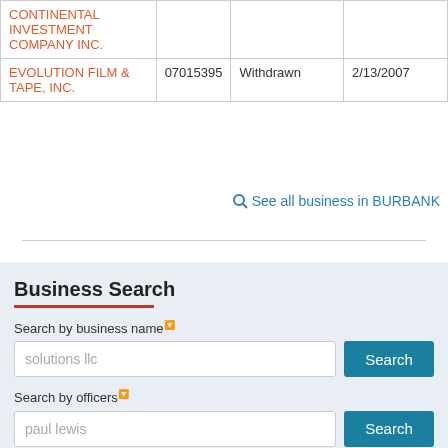| Name | ID | Status | Date |
| --- | --- | --- | --- |
| CONTINENTAL INVESTMENT COMPANY INC. |  |  |  |
| EVOLUTION FILM & TAPE, INC. | 07015395 | Withdrawn | 2/13/2007 |
See all business in BURBANK
Business Search
Search by business name
solutions llc
Search by officers
paul lewis